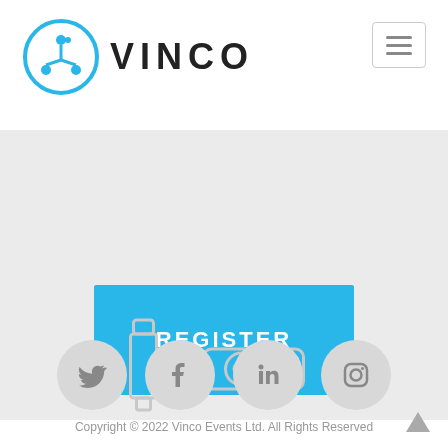[Figure (logo): Vinco logo with circular icon (fork/network icon in blue) and bold text VINCO]
[Figure (other): Hamburger menu button (three horizontal lines in a bordered box) in the top right corner]
[Figure (other): Blue REGISTER button centered on gray background]
[Figure (other): Gray icons of USB drive and projector on gray background]
[Figure (other): Social media icons: Twitter, Facebook, LinkedIn, Instagram — gray circles]
Copyright © 2022 Vinco Events Ltd. All Rights Reserved